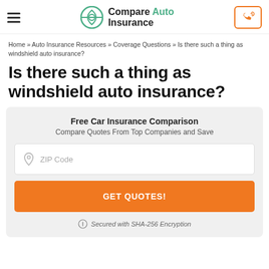Compare Auto Insurance
Home » Auto Insurance Resources » Coverage Questions » Is there such a thing as windshield auto insurance?
Is there such a thing as windshield auto insurance?
Free Car Insurance Comparison
Compare Quotes From Top Companies and Save
ZIP Code
GET QUOTES!
Secured with SHA-256 Encryption